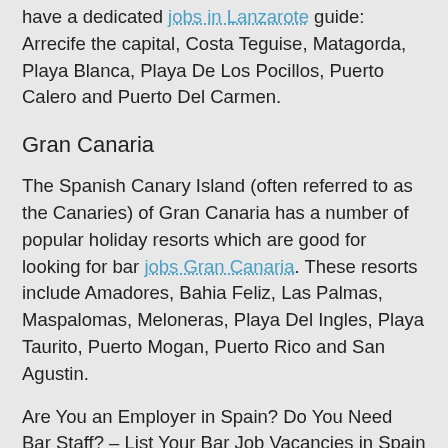have a dedicated jobs in Lanzarote guide: Arrecife the capital, Costa Teguise, Matagorda, Playa Blanca, Playa De Los Pocillos, Puerto Calero and Puerto Del Carmen.
Gran Canaria
The Spanish Canary Island (often referred to as the Canaries) of Gran Canaria has a number of popular holiday resorts which are good for looking for bar jobs Gran Canaria. These resorts include Amadores, Bahia Feliz, Las Palmas, Maspalomas, Meloneras, Playa Del Ingles, Playa Taurito, Puerto Mogan, Puerto Rico and San Agustin.
Are You an Employer in Spain? Do You Need Bar Staff? – List Your Bar Job Vacancies in Spain For FREE! – More Details…
Most Popular Places in Spain To Find Work: